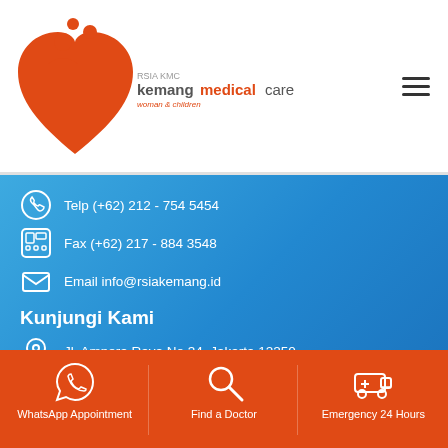[Figure (logo): Kemang Medical Care logo with orange heart and figures icon, text 'kemangmedicalcare woman & children']
Telp (+62) 212 - 754 5454
Fax (+62) 217 - 884 3548
Email info@rsiakemang.id
Kunjungi Kami
Jl. Ampera Raya No.34, Jakarta 12250
Follow Us
[Figure (illustration): Social media icons: Instagram, Twitter, Facebook, YouTube, LinkedIn]
WhatsApp Appointment
Find a Doctor
Emergency 24 Hours